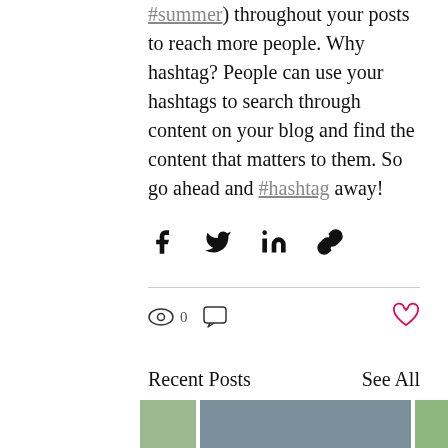#summer) throughout your posts to reach more people. Why hashtag? People can use your hashtags to search through content on your blog and find the content that matters to them. So go ahead and #hashtag away!
[Figure (other): Social share buttons: Facebook, Twitter, LinkedIn, link icons]
[Figure (other): Engagement stats: eye/views icon with count 0, comment icon, and heart/like icon (red outline)]
Recent Posts
See All
[Figure (photo): Three partially visible images: a green plant on the left, a man in denim shirt leaning over a desk in the center, and a green plant on the right]